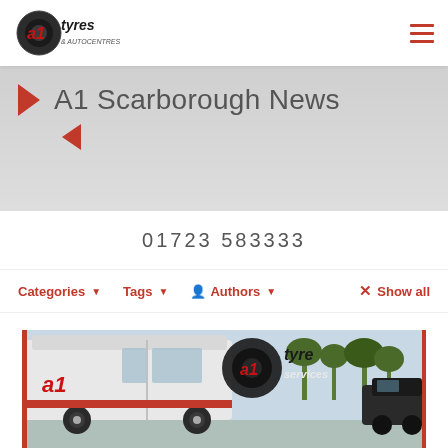A1 Tyres & Autocentres
A1 Scarborough News
01723 583333
Categories ▾  Tags ▾  Authors ▾  × Show all
[Figure (photo): A1 Tyre Services branded van parked outdoors with the A1 Tyre Services logo overlay on the image]